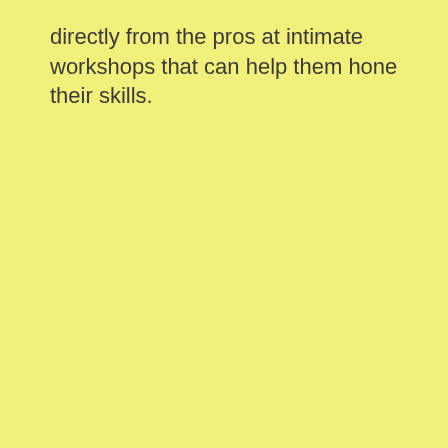directly from the pros at intimate workshops that can help them hone their skills.